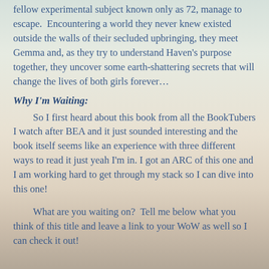fellow experimental subject known only as 72, manage to escape.  Encountering a world they never knew existed outside the walls of their secluded upbringing, they meet Gemma and, as they try to understand Haven's purpose together, they uncover some earth-shattering secrets that will change the lives of both girls forever…
Why I'm Waiting:
So I first heard about this book from all the BookTubers I watch after BEA and it just sounded interesting and the book itself seems like an experience with three different ways to read it just yeah I'm in. I got an ARC of this one and I am working hard to get through my stack so I can dive into this one!
What are you waiting on?  Tell me below what you think of this title and leave a link to your WoW as well so I can check it out!